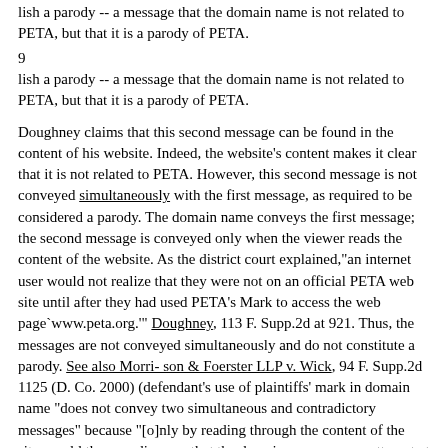lish a parody -- a message that the domain name is not related to PETA, but that it is a parody of PETA.
9
Doughney claims that this second message can be found in the content of his website. Indeed, the website's content makes it clear that it is not related to PETA. However, this second message is not conveyed simultaneously with the first message, as required to be considered a parody. The domain name conveys the first message; the second message is conveyed only when the viewer reads the content of the website. As the district court explained,"an internet user would not realize that they were not on an official PETA web site until after they had used PETA's Mark to access the web page`www.peta.org.'" Doughney, 113 F. Supp.2d at 921. Thus, the messages are not conveyed simultaneously and do not constitute a parody. See also Morri- son & Foerster LLP v. Wick, 94 F. Supp.2d 1125 (D. Co. 2000) (defendant's use of plaintiffs' mark in domain name "does not convey two simultaneous and contradictory messages" because "[o]nly by reading through the content of the sites could the user discover that the domain names are an attempt at parody"); Bucci, 42 U.S.P.Q.2d at 1435 (rejecting parody defense because "[s]eeing or typing the `planned parenthood' mark and accessing the web site are two separate and nonsimultaneous